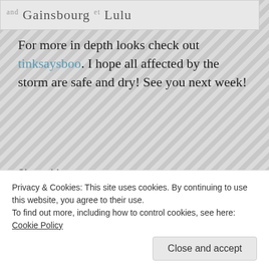[Figure (screenshot): Top portion of a webpage showing text 'Gainsbourg • Lulu' with decorative superscript marks]
For more in depth looks check out tinksaysboo. I hope all affected by the storm are safe and dry! See you next week!
Share this:
Facebook  Reddit  Twitter  Tumblr  Pinterest
Like
Privacy & Cookies: This site uses cookies. By continuing to use this website, you agree to their use.
To find out more, including how to control cookies, see here: Cookie Policy
Close and accept